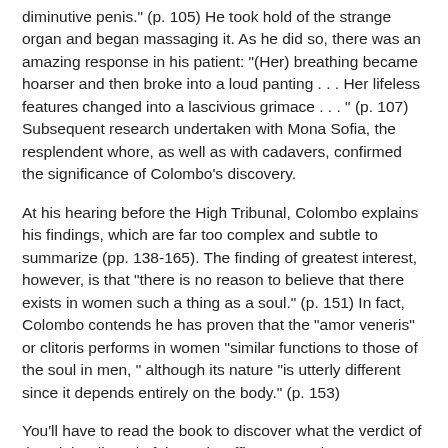diminutive penis." (p. 105) He took hold of the strange organ and began massaging it. As he did so, there was an amazing response in his patient: "(Her) breathing became hoarser and then broke into a loud panting . . . Her lifeless features changed into a lascivious grimace . . . " (p. 107) Subsequent research undertaken with Mona Sofia, the resplendent whore, as well as with cadavers, confirmed the significance of Colombo's discovery.
At his hearing before the High Tribunal, Colombo explains his findings, which are far too complex and subtle to summarize (pp. 138-165). The finding of greatest interest, however, is that "there is no reason to believe that there exists in women such a thing as a soul." (p. 151) In fact, Colombo contends he has proven that the "amor veneris" or clitoris performs in women "similar functions to those of the soul in men, " although its nature "is utterly different since it depends entirely on the body." (p. 153)
You'll have to read the book to discover what the verdict of the High Tribunal of the Holy Office was and Mateo Colombo's fate.